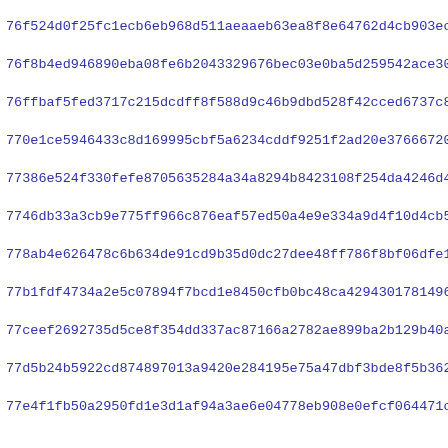76f524d0f25fc1ecb6eb968d511aeaaeb63ea8f8e64762d4cb903ecd04be3...
76f8b4ed946890eba08fe6b2043329676bec03e0ba5d259542ace30b5ef2c...
76ffbaf5fed3717c215dcdff8f588d9c46b9dbd528f42cced6737c8cf9050...
770e1ce5946433c8d169995cbf5a6234cddf9251f2ad20e37666720880400...
77386e524f330fefe8705635284a34a8294b8423108f254da4246d46812cc...
7746db33a3cb9e775ff966c876eaf57ed50a4e9e334a9d4f10d4cb5b1818c...
778ab4e626478c6b634de91cd9b35d0dc27dee48ff786f8bf06dfe12d89f9...
77b1fdf4734a2e5c07894f7bcd1e8450cfb0bc48ca4294301781496729ca5...
77ceef2692735d5ce8f354dd337ac87166a2782ae899ba2b129b40aaa0bd8...
77d5b24b5922cd874897013a9420e284195e75a47dbf3bde8f5b36241d9e9...
77e4f1fb50a2950fd1e3d1af94a3ae6e04778eb908e0efcf064471ccf5777...